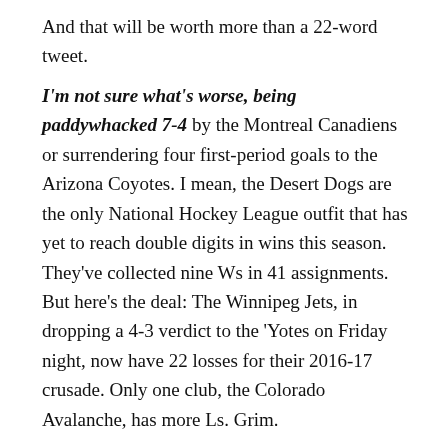And that will be worth more than a 22-word tweet.
I'm not sure what's worse, being paddywhacked 7-4 by the Montreal Canadiens or surrendering four first-period goals to the Arizona Coyotes. I mean, the Desert Dogs are the only National Hockey League outfit that has yet to reach double digits in wins this season. They've collected nine Ws in 41 assignments. But here's the deal: The Winnipeg Jets, in dropping a 4-3 verdict to the 'Yotes on Friday night, now have 22 losses for their 2016-17 crusade. Only one club, the Colorado Avalanche, has more Ls. Grim.
So, the Jets were late in allowing news snoops to enter their inner sanctum at Gila River Arena on Friday, because they thought it would be a swell idea to discuss their